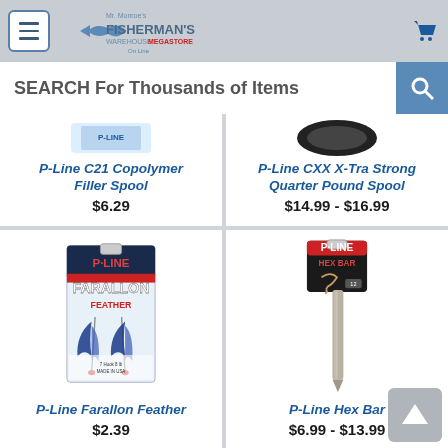Fisherman's Warehouse Megastore Online
SEARCH For Thousands of Items
P-Line C21 Copolymer Filler Spool
$6.29
P-Line CXX X-Tra Strong Quarter Pound Spool
$14.99 - $16.99
[Figure (photo): P-Line Farallon Feather fishing lure product packaging]
P-Line Farallon Feather
$2.39
[Figure (photo): P-Line Hex Bar fishing product packaging]
P-Line Hex Bar
$6.99 - $13.99